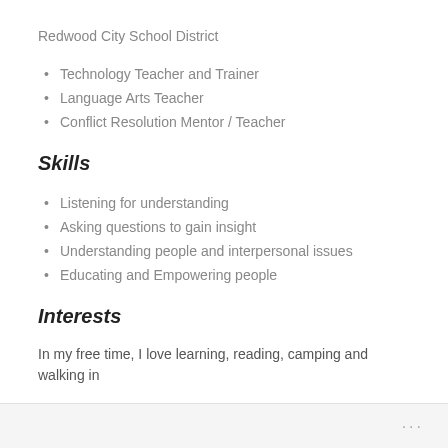Redwood City School District
Technology Teacher and Trainer
Language Arts Teacher
Conflict Resolution Mentor / Teacher
Skills
Listening for understanding
Asking questions to gain insight
Understanding people and interpersonal issues
Educating and Empowering people
Interests
In my free time, I love learning, reading, camping and walking in